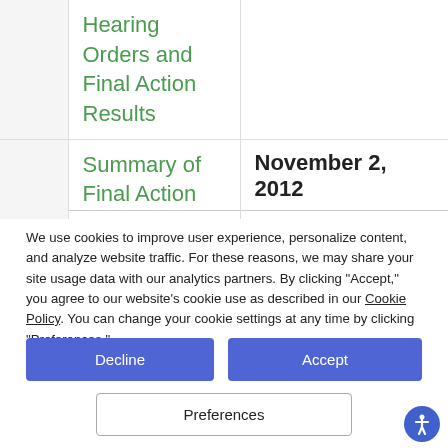|  |  |
| --- | --- |
| Hearing Orders and Final Action Results |  |
| Summary of Final Action | November 2, 2012 |
We use cookies to improve user experience, personalize content, and analyze website traffic. For these reasons, we may share your site usage data with our analytics partners. By clicking “Accept,” you agree to our website’s cookie use as described in our Cookie Policy. You can change your cookie settings at any time by clicking “Preferences.”
Decline
Accept
Preferences